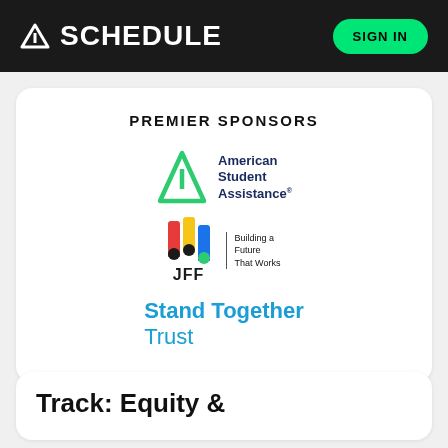SCHEDULE  SIGN IN
PREMIER SPONSORS
[Figure (logo): American Student Assistance logo — green triangle outline with text 'American Student Assistance®']
[Figure (logo): JFF logo — colored bars icon with JFF text and tagline 'Building a Future That Works']
[Figure (logo): Stand Together Trust logo — blue text reading 'Stand Together Trust']
Track: Equity &